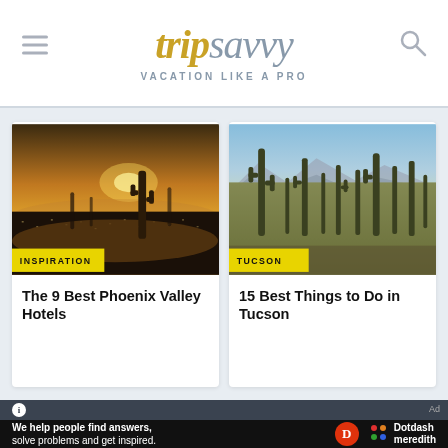tripsavvy VACATION LIKE A PRO
[Figure (photo): Aerial desert landscape at sunset with cactus silhouette and city below, with yellow INSPIRATION badge overlay]
The 9 Best Phoenix Valley Hotels
[Figure (photo): Desert hillside covered with tall saguaro cacti under blue sky, with yellow TUCSON badge overlay]
15 Best Things to Do in Tucson
We help people find answers, solve problems and get inspired. Dotdash meredith